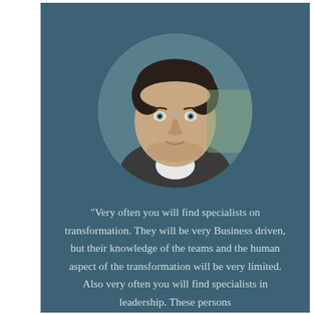[Figure (photo): Circular cropped professional headshot of a middle-aged man in a suit with blue eyes, set against a dark blue/teal background panel.]
“Very often you will find specialists on transformation. They will be very Business driven, but their knowledge of the teams and the human aspect of the transformation will be very limited. Also very often you will find specialists in leadership. These persons